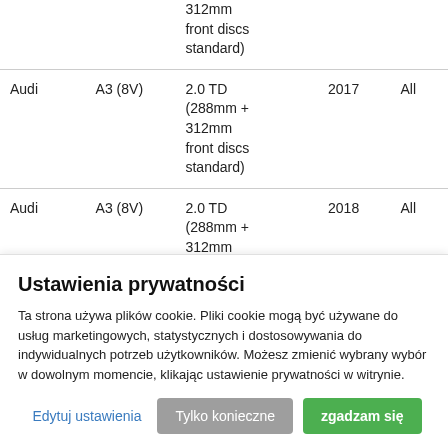|  |  | 312mm front discs standard) |  |  |
| Audi | A3 (8V) | 2.0 TD (288mm + 312mm front discs standard) | 2017 | All |
| Audi | A3 (8V) | 2.0 TD (288mm + 312mm | 2018 | All |
Ustawienia prywatności
Ta strona używa plików cookie. Pliki cookie mogą być używane do usług marketingowych, statystycznych i dostosowywania do indywidualnych potrzeb użytkowników. Możesz zmienić wybrany wybór w dowolnym momencie, klikając ustawienie prywatności w witrynie.